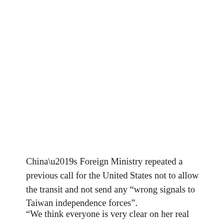China’s Foreign Ministry repeated a previous call for the United States not to allow the transit and not send any “wrong signals to Taiwan independence forces”.
“We think everyone is very clear on her real